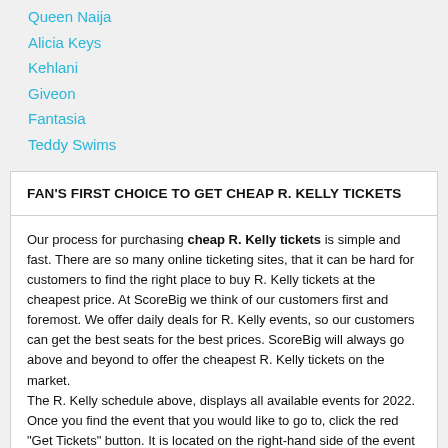Queen Naija
Alicia Keys
Kehlani
Giveon
Fantasia
Teddy Swims
FAN'S FIRST CHOICE TO GET CHEAP R. KELLY TICKETS
Our process for purchasing cheap R. Kelly tickets is simple and fast. There are so many online ticketing sites, that it can be hard for customers to find the right place to buy R. Kelly tickets at the cheapest price. At ScoreBig we think of our customers first and foremost. We offer daily deals for R. Kelly events, so our customers can get the best seats for the best prices. ScoreBig will always go above and beyond to offer the cheapest R. Kelly tickets on the market.
The R. Kelly schedule above, displays all available events for 2022. Once you find the event that you would like to go to, click the red "Get Tickets" button. It is located on the right-hand side of the event listing, it will take you to an R. Kelly event ticket page. ScoreBig's event ticket page will display all available R.